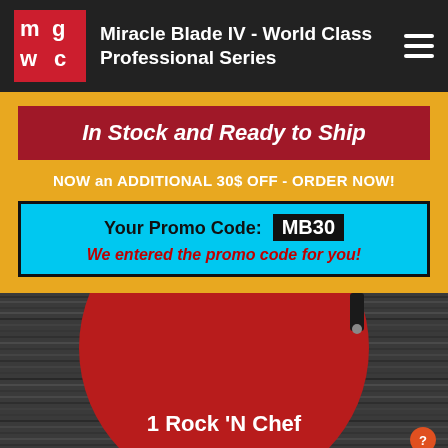Miracle Blade IV - World Class Professional Series
In Stock and Ready to Ship
NOW an ADDITIONAL 30$ OFF - ORDER NOW!
Your Promo Code: MB30
We entered the promo code for you!
[Figure (photo): Red circle on dark wood-grain background with knife handle visible at top right]
1 Rock 'N Chef